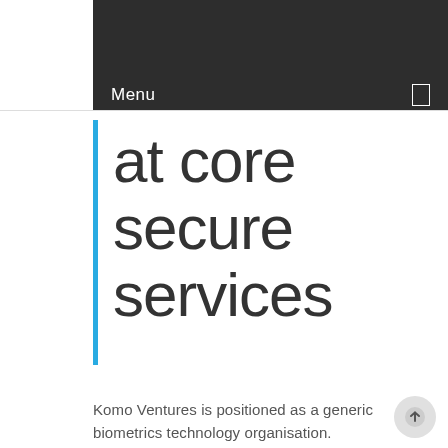Menu
at core secure services
Komo Ventures is positioned as a generic biometrics technology organisation.
We do not focus on any one biometrics solution; rather, from our armoury of biometrics based solutions we offer the best available biometrics solution to fit the customer's requirements (iris, face, voice,